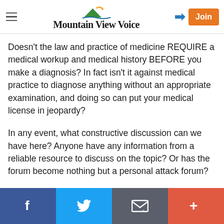Mountain View Voice
Doesn't the law and practice of medicine REQUIRE a medical workup and medical history BEFORE you make a diagnosis? In fact isn't it against medical practice to diagnose anything without an appropriate examination, and doing so can put your medical license in jeopardy?
In any event, what constructive discussion can we have here? Anyone have any information from a reliable resource to discuss on the topic? Or has the forum become nothing but a personal attack forum?
Please assist my Neighbor of unit 11 of 184 Centre Street regarding David Avny?
Facebook | Twitter | Email | More